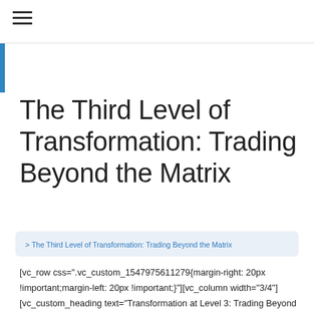The Third Level of Transformation: Trading Beyond the Matrix
> The Third Level of Transformation: Trading Beyond the Matrix
[vc_row css=".vc_custom_1547975611279{margin-right: 20px !important;margin-left: 20px !important;}"][vc_column width="3/4"][vc_custom_heading text="Transformation at Level 3: Trading Beyond the Matrix" use_theme_fonts="yes"][vc_column_text]Toward the end of the movie, Neo is able to step beyond his programming. He is able to do things that you shouldn't be able to do within the Matrix. This is an excellent metaphor to comprehend the final level of transformation: trading beyond the matrix of your beliefs by changing your level of